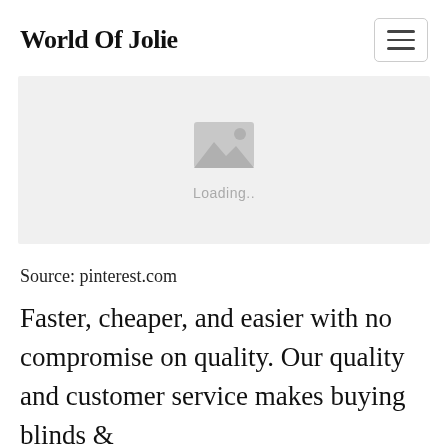World Of Jolie
[Figure (photo): Image placeholder with loading icon and 'Loading..' text on a light gray background]
Source: pinterest.com
Faster, cheaper, and easier with no compromise on quality. Our quality and customer service makes buying blinds &